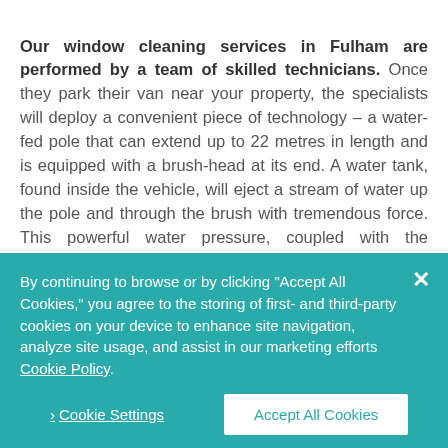Our window cleaning services in Fulham are performed by a team of skilled technicians. Once they park their van near your property, the specialists will deploy a convenient piece of technology – a water-fed pole that can extend up to 22 metres in length and is equipped with a brush-head at its end. A water tank, found inside the vehicle, will eject a stream of water up the pole and through the brush with tremendous force. This powerful water pressure, coupled with the methodical movements of the brush-head and the special purified formula, will blast away any mud, dirt, dust, limescale, and other stains with ease. No follow-up wiping and polishing is required – the purified water will absorb anything
By continuing to browse or by clicking "Accept All Cookies," you agree to the storing of first- and third-party cookies on your device to enhance site navigation, analyze site usage, and assist in our marketing efforts Cookie Policy
> Cookie Settings   Accept All Cookies